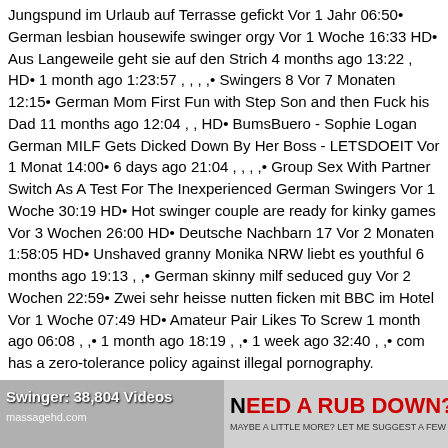Jungspund im Urlaub auf Terrasse gefickt Vor 1 Jahr 06:50• German lesbian housewife swinger orgy Vor 1 Woche 16:33 HD• Aus Langeweile geht sie auf den Strich 4 months ago 13:22 , HD• 1 month ago 1:23:57 , , , ,• Swingers 8 Vor 7 Monaten 12:15• German Mom First Fun with Step Son and then Fuck his Dad 11 months ago 12:04 , , HD• BumsBuero - Sophie Logan German MILF Gets Dicked Down By Her Boss - LETSDOEIT Vor 1 Monat 14:00• 6 days ago 21:04 , , , ,• Group Sex With Partner Switch As A Test For The Inexperienced German Swingers Vor 1 Woche 30:19 HD• Hot swinger couple are ready for kinky games Vor 3 Wochen 26:00 HD• Deutsche Nachbarn 17 Vor 2 Monaten 1:58:05 HD• Unshaved granny Monika NRW liebt es youthful 6 months ago 19:13 , ,• German skinny milf seduced guy Vor 2 Wochen 22:59• Zwei sehr heisse nutten ficken mit BBC im Hotel Vor 1 Woche 07:49 HD• Amateur Pair Likes To Screw 1 month ago 06:08 , ,• 1 month ago 18:19 , ,• 1 week ago 32:40 , ,• com has a zero-tolerance policy against illegal pornography.
[Figure (screenshot): Bottom bar with two sections: left grey section showing 'Swinger: 38,804 Videos' label and massage site URL text; right grey section showing 'NEED A RUB DOWN?' advertisement text in red and black.]